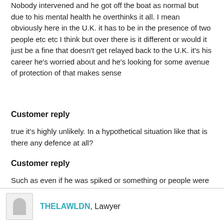Nobody intervened and he got off the boat as normal but due to his mental health he overthinks it all. I mean obviously here in the U.K. it has to be in the presence of two people etc etc I think but over there is it different or would it just be a fine that doesn't get relayed back to the U.K. it's his career he's worried about and he's looking for some avenue of protection of that makes sense
Customer reply
true it's highly unlikely. In a hypothetical situation like that is there any defence at all?
Customer reply
Such as even if he was spiked or something or people were unable to see. It's interesting to know how the law works
THELAWLDN, Lawyer